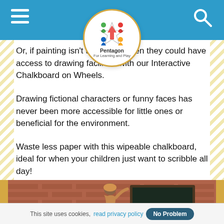Pentagon — For Learning and Play
Or, if painting isn't their thing, then they could have access to drawing facilities with our Interactive Chalkboard on Wheels.
Drawing fictional characters or funny faces has never been more accessible for little ones or beneficial for the environment.
Waste less paper with this wipeable chalkboard, ideal for when your children just want to scribble all day!
[Figure (photo): Child reaching up to write on an outdoor chalkboard in front of a brick building]
This site uses cookies, read privacy policy  No Problem